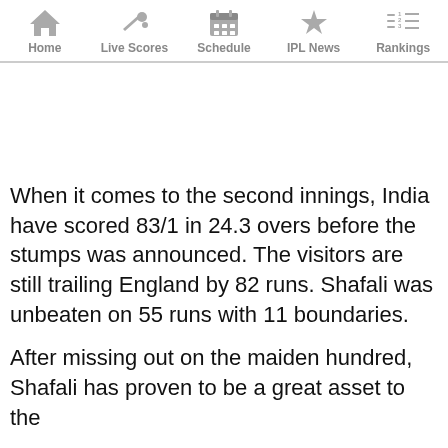Home | Live Scores | Schedule | IPL News | Rankings
[Figure (other): Advertisement / blank white space placeholder]
When it comes to the second innings, India have scored 83/1 in 24.3 overs before the stumps was announced. The visitors are still trailing England by 82 runs. Shafali was unbeaten on 55 runs with 11 boundaries.
After missing out on the maiden hundred, Shafali has proven to be a great asset to the